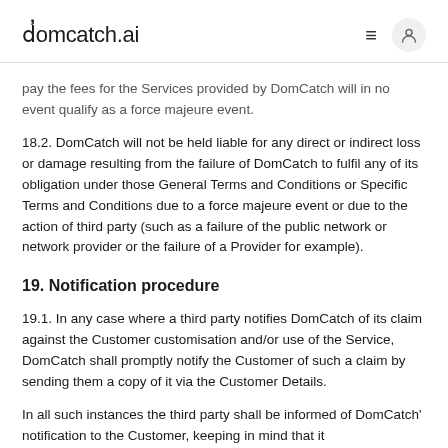domcatch.ai
pay the fees for the Services provided by DomCatch will in no event qualify as a force majeure event.
18.2. DomCatch will not be held liable for any direct or indirect loss or damage resulting from the failure of DomCatch to fulfil any of its obligation under those General Terms and Conditions or Specific Terms and Conditions due to a force majeure event or due to the action of third party (such as a failure of the public network or network provider or the failure of a Provider for example).
19. Notification procedure
19.1. In any case where a third party notifies DomCatch of its claim against the Customer customisation and/or use of the Service, DomCatch shall promptly notify the Customer of such a claim by sending them a copy of it via the Customer Details.
In all such instances the third party shall be informed of DomCatch' notification to the Customer, keeping in mind that it